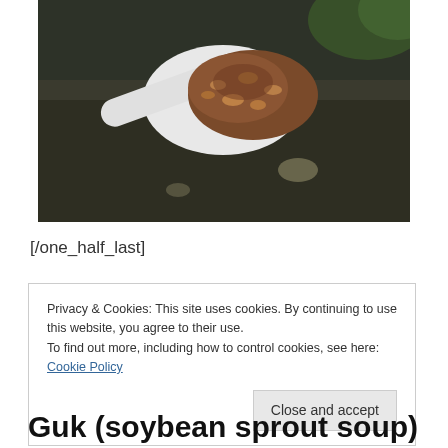[Figure (photo): Close-up photo of a white spoon holding cooked soybean sprouts with dark sauce on a dark surface]
[/one_half_last]
Privacy & Cookies: This site uses cookies. By continuing to use this website, you agree to their use.
To find out more, including how to control cookies, see here: Cookie Policy
Close and accept
Guk (soybean sprout soup)